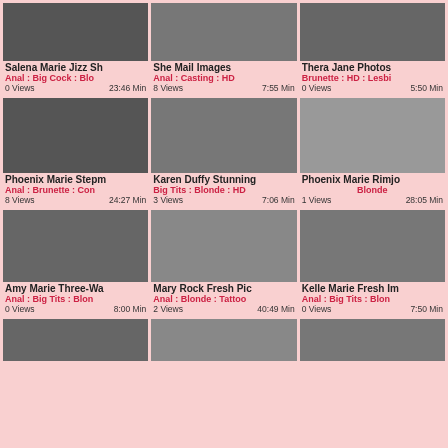[Figure (photo): Video thumbnail grid showing adult video listings with titles, tags, view counts and durations]
Salena Marie Jizz Sh | Anal : Big Cock : Blo | 0 Views  23:46 Min
She Mail Images | Anal : Casting : HD | 8 Views  7:55 Min
Thera Jane Photos | Brunette : HD : Lesbi | 0 Views  5:50 Min
Phoenix Marie Stepm | Anal : Brunette : Con | 8 Views  24:27 Min
Karen Duffy Stunning | Big Tits : Blonde : HD | 3 Views  7:06 Min
Phoenix Marie Rimjo | Blonde | 1 Views  28:05 Min
Amy Marie Three-Wa | Anal : Big Tits : Blon | 0 Views  8:00 Min
Mary Rock Fresh Pic | Anal : Blonde : Tattoo | 2 Views  40:49 Min
Kelle Marie Fresh Im | Anal : Big Tits : Blon | 0 Views  7:50 Min